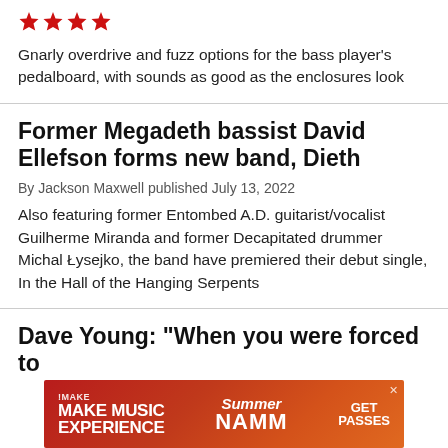[Figure (other): Four red star icons (rating stars)]
Gnarly overdrive and fuzz options for the bass player's pedalboard, with sounds as good as the enclosures look
Former Megadeth bassist David Ellefson forms new band, Dieth
By Jackson Maxwell published July 13, 2022
Also featuring former Entombed A.D. guitarist/vocalist Guilherme Miranda and former Decapitated drummer Michal Łysejko, the band have premiered their debut single, In the Hall of the Hanging Serpents
Dave Young: “When you were forced to
[Figure (infographic): Make Music Experience Summer NAMM advertisement banner with red/orange gradient background, GET PASSES call to action]